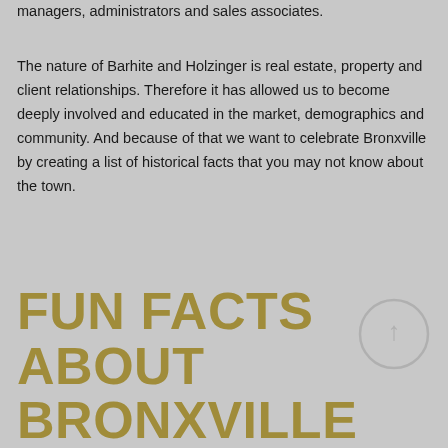managers, administrators and sales associates.
The nature of Barhite and Holzinger is real estate, property and client relationships. Therefore it has allowed us to become deeply involved and educated in the market, demographics and community. And because of that we want to celebrate Bronxville by creating a list of historical facts that you may not know about the town.
FUN FACTS ABOUT BRONXVILLE